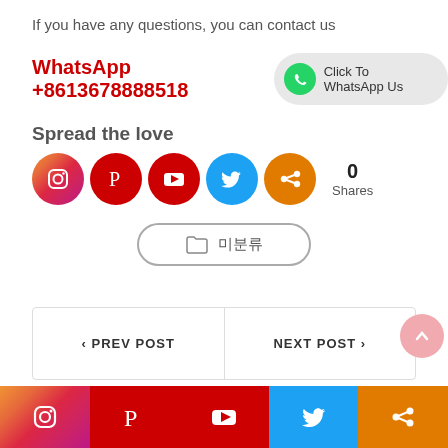If you have any questions, you can contact us
WhatsApp +8613678888518
[Figure (other): WhatsApp button with phone icon and text 'Click To WhatsApp Us' on grey rounded background]
Spread the love
[Figure (other): Row of social share icon circles: Instagram, Pinterest, YouTube, Twitter, Share. Count: 0 Shares.]
[Figure (other): Folder/category button with folder icon and Chinese characters]
< PREV POST
NEXT POST >
[Figure (other): Bottom social bar with icons: Instagram (gradient), Pinterest (red), YouTube (red), Twitter (blue), Share (orange)]